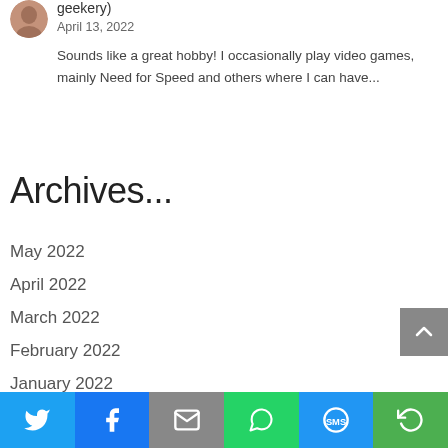[Figure (photo): User avatar photo - person's face]
geekery)
April 13, 2022
Sounds like a great hobby! I occasionally play video games, mainly Need for Speed and others where I can have...
Archives...
May 2022
April 2022
March 2022
February 2022
January 2022
December 2021
[Figure (infographic): Social share bar with Twitter, Facebook, Email, WhatsApp, SMS, and More buttons]